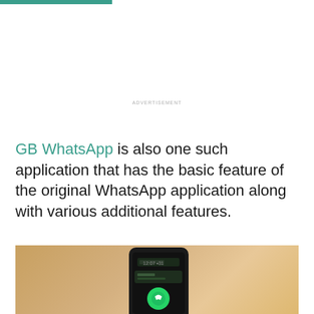ADVERTISEMENT
GB WhatsApp is also one such application that has the basic feature of the original WhatsApp application along with various additional features.
[Figure (photo): A smartphone with a dark screen showing WhatsApp interface with time '12:07' visible, placed on a wooden surface. Green WhatsApp circle icon is visible at the bottom.]